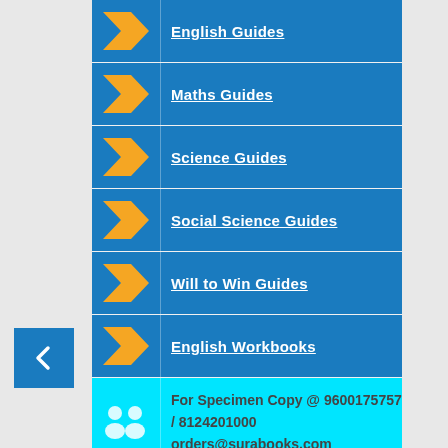English Guides
Maths Guides
Science Guides
Social Science Guides
Will to Win Guides
English Workbooks
For Specimen Copy @ 9600175757 / 8124201000 orders@surabooks.com